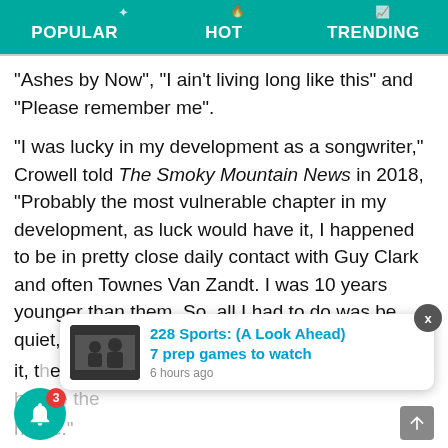POPULAR  HOT  TRENDING
“Ashes by Now”, “I ain’t living long like this” and “Please remember me”.

“I was lucky in my development as a songwriter,” Crowell told The Smoky Mountain News in 2018, “Probably the most vulnerable chapter in my development, as luck would have it, I happened to be in pretty close daily contact with Guy Clark and often Townes Van Zandt. I was 10 years younger than them. So, all I had to do was be quiet, pay attention. And I realized i… it, the song will s… be. To me, the cart is definitely before the horse.”
[Figure (screenshot): Toast notification card showing '228 Sports: (A Look Ahead) 7 prep games to watch' posted 6 hours ago, with a sports image thumbnail. Also shows notification bell with badge count 3, close X button, and scroll-to-top arrow button.]